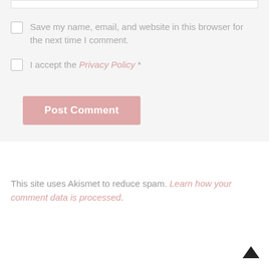Save my name, email, and website in this browser for the next time I comment.
I accept the Privacy Policy *
Post Comment
This site uses Akismet to reduce spam. Learn how your comment data is processed.